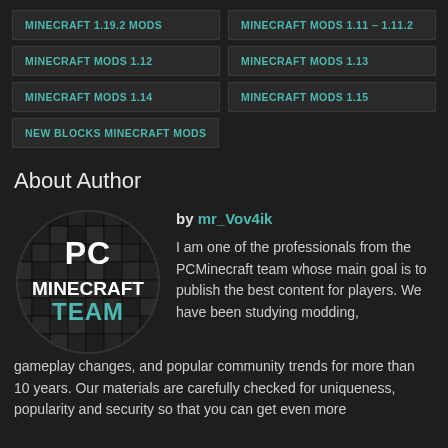MINECRAFT 1.19.2 MODS
MINECRAFT MODS 1.11 – 1.11.2
MINECRAFT MODS 1.12
MINECRAFT MODS 1.13
MINECRAFT MODS 1.14
MINECRAFT MODS 1.15
NEW BLOCKS MINECRAFT MODS
About Author
[Figure (logo): PC Minecraft Team circular logo with dark mosaic background and teal/white text]
by mr_Vov4ik
I am one of the professionals from the PCMinecraft team whose main goal is to publish the best content for players. We have been studying modding, gameplay changes, and popular community trends for more than 10 years. Our materials are carefully checked for uniqueness, popularity and security so that you can get even more